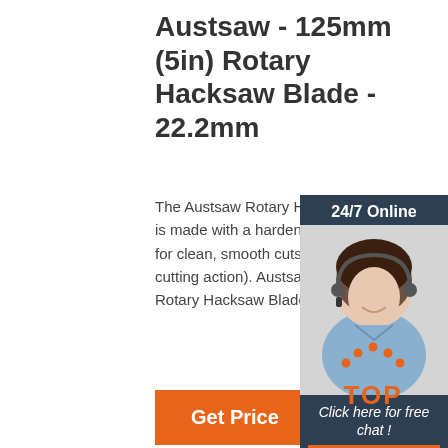Austsaw - 125mm (5in) Rotary Hacksaw Blade - 22.2mm
The Austsaw Rotary Hacksaw cutting is made with a hardened tempered b for clean, smooth cuts (fast and smo cutting action). Austsaw - 125mm (5i Rotary Hacksaw Blade - 22.2mm Bo
[Figure (other): Get Price orange button]
[Figure (other): 24/7 online chat widget with customer service representative photo, 'Click here for free chat!' text, and QUOTATION button]
[Figure (logo): TOP logo with orange dots forming an arrow/hat shape above the word TOP in orange]